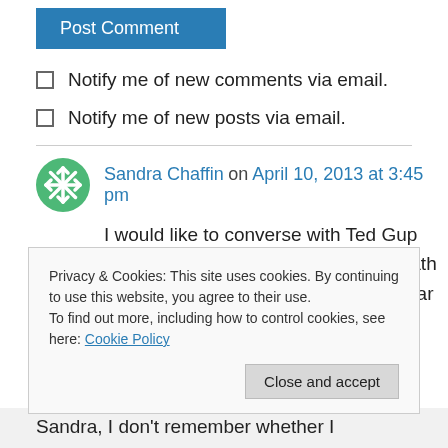Post Comment
Notify me of new comments via email.
Notify me of new posts via email.
Sandra Chaffin on April 10, 2013 at 3:45 pm
I would like to converse with Ted Gup about my our experiance with the death of our 22 yr old grandson due to similar circumstances.
Privacy & Cookies: This site uses cookies. By continuing to use this website, you agree to their use.
To find out more, including how to control cookies, see here: Cookie Policy
Close and accept
Sandra, I don't remember whether I